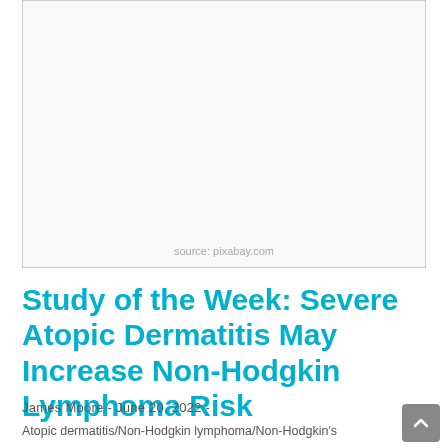[Figure (photo): White/light gray blank image placeholder with border]
source: pixabay.com
Study of the Week: Severe Atopic Dermatitis May Increase Non-Hodgkin Lymphoma Risk
James Moore  -  June 20, 2022  -
Atopic dermatitis/Non-Hodgkin lymphoma/Non-Hodgkin's